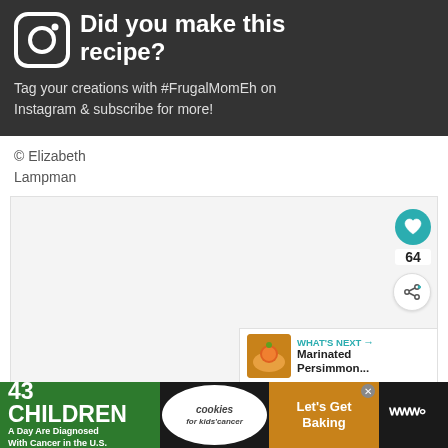[Figure (infographic): Dark banner with Instagram icon and call to action: Did you make this recipe? Tag your creations with #FrugalMomEh on Instagram & subscribe for more!]
© Elizabeth Lampman
[Figure (screenshot): Content area with heart/like button showing 64 likes, share button, and What's Next panel showing Marinated Persimmon...]
[Figure (infographic): Ad banner: 43 Children A Day Are Diagnosed With Cancer in the U.S. - cookies for kids' cancer - Let's Get Baking]